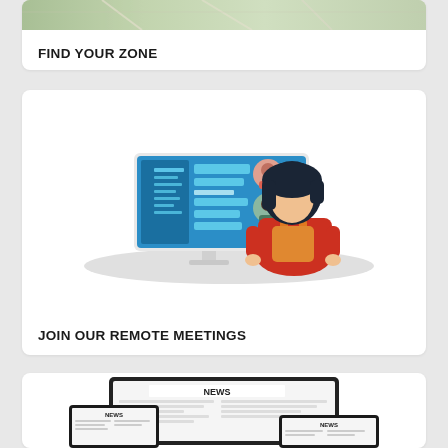[Figure (illustration): Map strip image at the top of the first card (Find Your Zone)]
FIND YOUR ZONE
[Figure (illustration): Illustration of a person with dark hair and red shirt looking at a computer monitor showing a video conference interface with multiple participant avatars]
JOIN OUR REMOTE MEETINGS
[Figure (illustration): Illustration of multiple digital devices (tablet and smartphones) displaying NEWS headlines and article text]